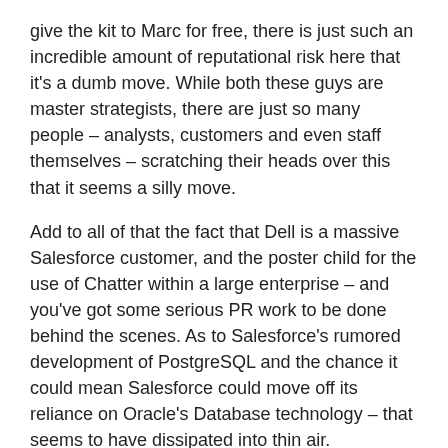give the kit to Marc for free, there is just such an incredible amount of reputational risk here that it's a dumb move. While both these guys are master strategists, there are just so many people – analysts, customers and even staff themselves – scratching their heads over this that it seems a silly move.
Add to all of that the fact that Dell is a massive Salesforce customer, and the poster child for the use of Chatter within a large enterprise – and you've got some serious PR work to be done behind the scenes. As to Salesforce's rumored development of PostgreSQL and the chance it could mean Salesforce could move off its reliance on Oracle's Database technology – that seems to have dissipated into thin air.
NetSuite and Oracle
This one makes a little more sense. NetSuite already talks strongly of a two tier ERP strategy and Oracle are